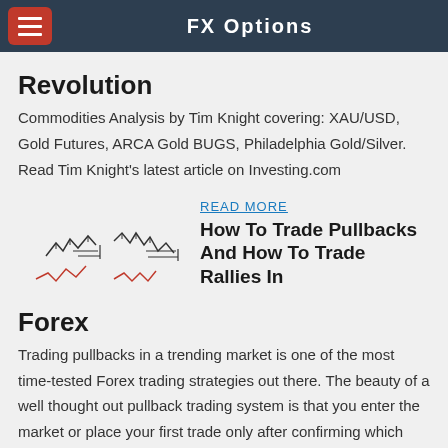FX Options
Revolution
Commodities Analysis by Tim Knight covering: XAU/USD, Gold Futures, ARCA Gold BUGS, Philadelphia Gold/Silver. Read Tim Knight's latest article on Investing.com
[Figure (illustration): Line chart sketch showing pullbacks and rallies with red and black zigzag patterns]
READ MORE
How To Trade Pullbacks And How To Trade Rallies In Forex
Trading pullbacks in a trending market is one of the most time-tested Forex trading strategies out there. The beauty of a well thought out pullback trading system is that you enter the market or place your first trade only after confirming which way the market is going. Doing this is going to help you eliminate [...]